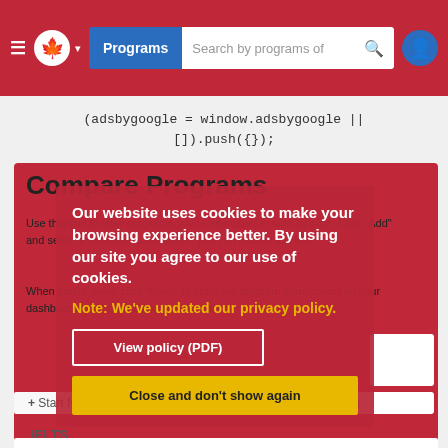Programs | Search by programs of
(adsbygoogle = window.adsbygoogle || []).push({});
Compare Programs
Use this tool to view programs you're interested in side-by-side. Click "Add" and select a program to compare - you can add up to three.
When you're done, click "Save" to store the program comparison on your dashboard and come back to view it later.
Our website uses cookies to make your browsing experience better. By using our site you agree to our use of cookies.
Note: We've updated our privacy policy.
View policy (PDF)
Close and don't show again
+ Start New  ★ Save  🖨 Print
IELTS